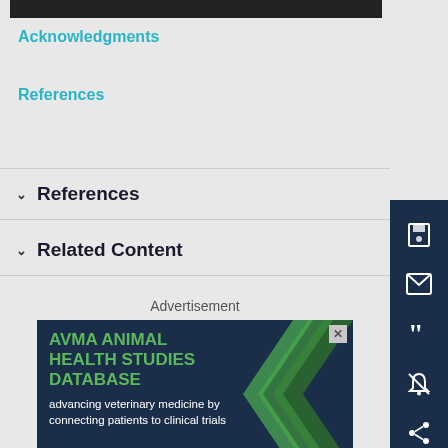Acknowledgments
References
References
Related Content
Advertisement
[Figure (other): AVMA Animal Health Studies Database advertisement with green chevron arrows on dark blue background. Text: AVMA ANIMAL HEALTH STUDIES DATABASE advancing veterinary medicine by connecting patients to clinical trials]